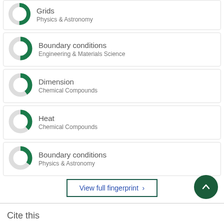Grids — Physics & Astronomy
Boundary conditions — Engineering & Materials Science
Dimension — Chemical Compounds
Heat — Chemical Compounds
Boundary conditions — Physics & Astronomy
View full fingerprint >
Cite this